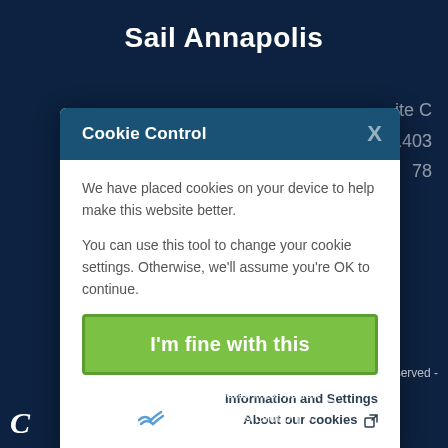Sail Annapolis
[Figure (screenshot): Cookie Control modal dialog overlaying a dark blue website background. Modal has a dark blue header with 'Cookie Control' title and X close button, white body with cookie consent text, a green 'I'm fine with this' button, and links for 'Information and Settings' and 'About our cookies'.]
Do Not Sell My Personal Information
Site By Boats Group